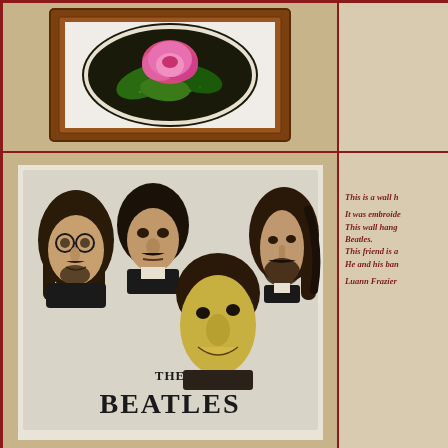[Figure (photo): Framed cross-stitch embroidery of a pink rose in an oval, displayed in a brown wooden frame, cropped at top]
[Figure (photo): Wall hanging featuring caricature illustrations of The Beatles (four members) with 'THE BEATLES' text at the bottom in bold lettering]
This is a wall h

It was embroide
This wall hang
Beatles.
This friend is a
He and his ban

Luann Frazier
[Figure (photo): A tan/beige pillow or fabric item lying flat on a tiled floor, partially visible at bottom of page]